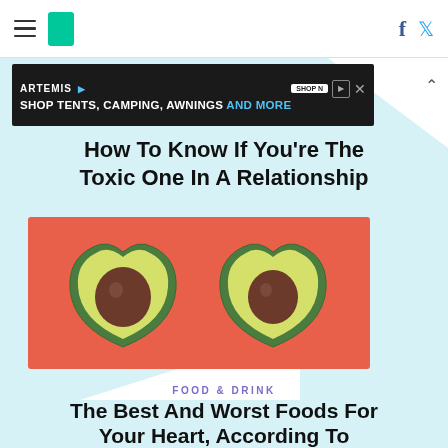HuffPost navigation with hamburger menu, logo, Facebook and Twitter icons
[Figure (screenshot): Advertisement banner: ARTEMIS - SHOP TENTS, CAMPING, AWNINGS AND MORE]
How To Know If You're The Toxic One In A Relationship
[Figure (photo): Two heart-shaped avocado halves with pits on a coral/red background]
FOOD & DRINK
The Best And Worst Foods For Your Heart, According To